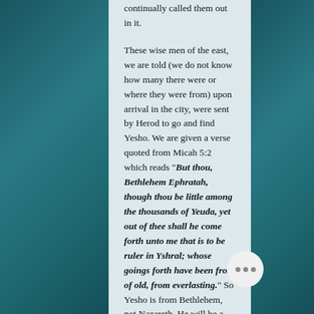continually called them out in it.

These wise men of the east, we are told (we do not know how many there were or where they were from) upon arrival in the city, were sent by Herod to go and find Yesho. We are given a verse quoted from Micah 5:2 which reads "But thou, Bethlehem Ephratah, though thou be little among the thousands of Yeuda, yet out of thee shall he come forth unto me that is to be ruler in Yshral; whose goings forth have been from of old, from everlasting." So Yesho is from Bethlehem, not Nazareth. He will be a Nazarite because he takes the same vow Samson did. To be a